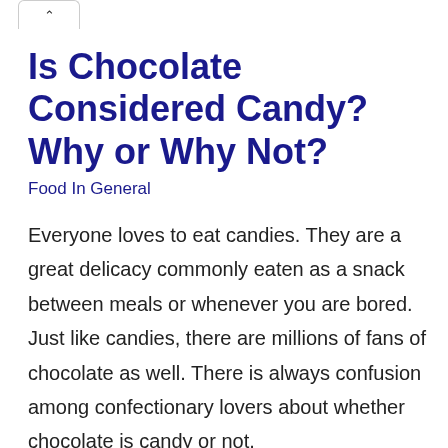^
Is Chocolate Considered Candy? Why or Why Not?
Food In General
Everyone loves to eat candies. They are a great delicacy commonly eaten as a snack between meals or whenever you are bored. Just like candies, there are millions of fans of chocolate as well. There is always confusion among confectionary lovers about whether chocolate is candy or not.